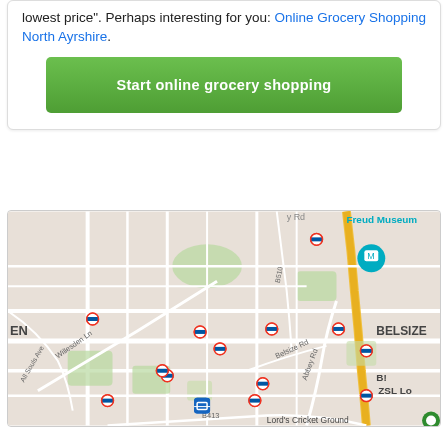lowest price". Perhaps interesting for you: Online Grocery Shopping North Ayrshire.
Start online grocery shopping
[Figure (map): Street map showing London area around Belsize, Willesden Lane, Abbey Road, ZSL London Zoo, Lord's Cricket Ground, Freud Museum, with London Underground station markers and a highlighted yellow route road.]